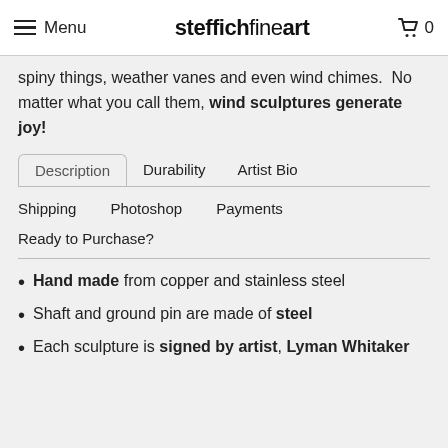Menu | steffichfineart | 0
spiny things, weather vanes and even wind chimes.  No matter what you call them, wind sculptures generate joy!
Description | Durability | Artist Bio | Shipping | Photoshop | Payments | Ready to Purchase?
Hand made from copper and stainless steel
Shaft and ground pin are made of steel
Each sculpture is signed by artist, Lyman Whitaker